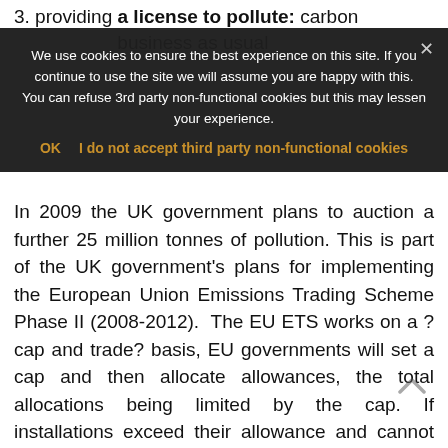3. providing a license to pollute: carbon business as usual
We use cookies to ensure the best experience on this site. If you continue to use the site we will assume you are happy with this. You can refuse 3rd party non-functional cookies but this may lessen your experience.
OK  I do not accept third party non-functional cookies
In 2009 the UK government plans to auction a further 25 million tonnes of pollution. This is part of the UK government’s plans for implementing the European Union Emissions Trading Scheme Phase II (2008-2012).  The EU ETS works on a ?cap and trade? basis, EU governments will set a cap and then allocate allowances, the total allocations being limited by the cap. If installations exceed their allowance and cannot cover the excess pollution with allowances or permits to pollute, they will be face financial penalties